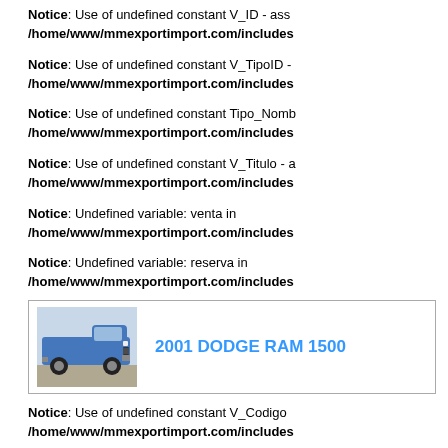Notice: Use of undefined constant V_ID - ass /home/www/mmexportimport.com/includes
Notice: Use of undefined constant V_TipoID - /home/www/mmexportimport.com/includes
Notice: Use of undefined constant Tipo_Nomb /home/www/mmexportimport.com/includes
Notice: Use of undefined constant V_Titulo - a /home/www/mmexportimport.com/includes
Notice: Undefined variable: venta in /home/www/mmexportimport.com/includes
Notice: Undefined variable: reserva in /home/www/mmexportimport.com/includes
[Figure (photo): Blue 2001 Dodge Ram 1500 pickup truck]
2001 DODGE RAM 1500
Notice: Use of undefined constant V_Codigo /home/www/mmexportimport.com/includes